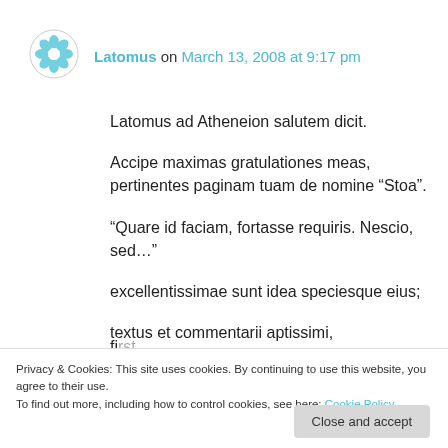Latomus on March 13, 2008 at 9:17 pm
Latomus ad Atheneion salutem dicit.
Accipe maximas gratulationes meas, pertinentes paginam tuam de nomine “Stoa”.
“Quare id faciam, fortasse requiris. Nescio, sed…”
excellentissimae sunt idea speciesque eius;
textus et commentarii aptissimi, elegantissimi fi...
Privacy & Cookies: This site uses cookies. By continuing to use this website, you agree to their use.
To find out more, including how to control cookies, see here: Cookie Policy
Close and accept
Vale (id est best wishes):